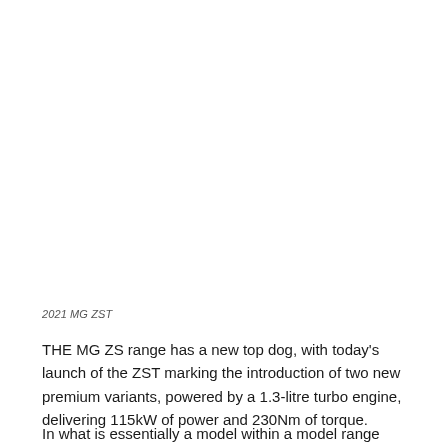2021 MG ZST
THE MG ZS range has a new top dog, with today’s launch of the ZST marking the introduction of two new premium variants, powered by a 1.3-litre turbo engine, delivering 115kW of power and 230Nm of torque.
In what is essentially a model within a model range scenario,